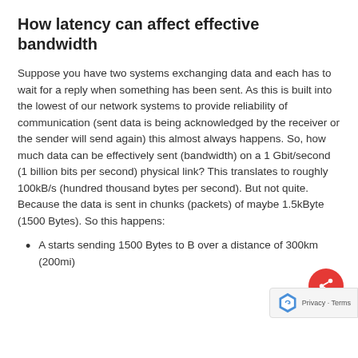How latency can affect effective bandwidth
Suppose you have two systems exchanging data and each has to wait for a reply when something has been sent. As this is built into the lowest of our network systems to provide reliability of communication (sent data is being acknowledged by the receiver or the sender will send again) this almost always happens. So, how much data can be effectively sent (bandwidth) on a 1 Gbit/second (1 billion bits per second) physical link? This translates to roughly 100kB/s (hundred thousand bytes per second). But not quite. Because the data is sent in chunks (packets) of maybe 1.5kByte (1500 Bytes). So this happens:
A starts sending 1500 Bytes to B over a distance of 300km (200mi)